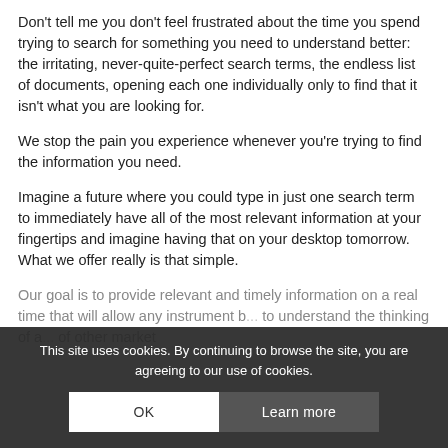Don't tell me you don't feel frustrated about the time you spend trying to search for something you need to understand better: the irritating, never-quite-perfect search terms, the endless list of documents, opening each one individually only to find that it isn't what you are looking for.
We stop the pain you experience whenever you're trying to find the information you need.
Imagine a future where you could type in just one search term to immediately have all of the most relevant information at your fingertips and imagine having that on your desktop tomorrow. What we offer really is that simple.
Our goal is to provide relevant and timely information on a real time that will allow any instrument b... to understand the thinking of a... of other market
This site uses cookies. By continuing to browse the site, you are agreeing to our use of cookies.